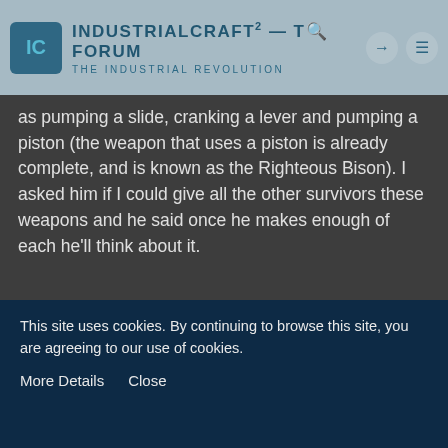IndustrialCraft² - Top Forum — The Industrial Revolution
as pumping a slide, cranking a lever and pumping a piston (the weapon that uses a piston is already complete, and is known as the Righteous Bison). I asked him if I could give all the other survivors these weapons and he said once he makes enough of each he'll think about it.
Reisen Udongein Inaba
Tree Cutter
Apr 11th 2013
This site uses cookies. By continuing to browse this site, you are agreeing to our use of cookies.
More Details   Close